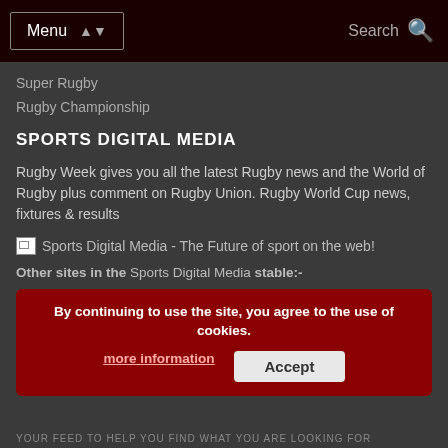Menu | Search
Super Rugby
Rugby Championship
SPORTS DIGITAL MEDIA
Rugby Week gives you all the latest Rugby news and the World of Rugby plus comment on Rugby Union. Rugby World Cup news, fixtures & results
[Figure (other): Broken image placeholder for Sports Digital Media - The Future of sport on the web!]
Other sites in the Sports Digital Media stable:-
Rugbyweek.com | Footballweek.com | Soccerweek.com | Cricketweek.com | Golfingweek.com | Golfersweek.com | Cyclingweek.com | Athleticsweek.com | Dartsweek.com | Formula1week.com | GridIronweek.com | Gymasticsweek.com | IceHockeyweek.com | Motorsportsweek.com | Netballweek.com | Snookerweek.com |
By continuing to use the site, you agree to the use of cookies.
more information   Accept